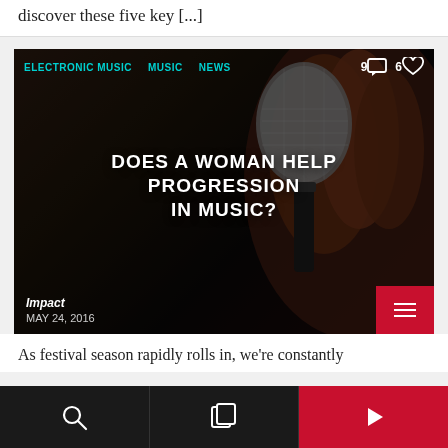discover these five key [...]
[Figure (photo): Dark photo of a hand holding a microphone, with article card overlay showing tags ELECTRONIC MUSIC, MUSIC, NEWS, comment count 9, heart count 6, title 'DOES A WOMAN HELP PROGRESSION IN MUSIC?', source Impact, date MAY 24, 2016, and red menu button]
As festival season rapidly rolls in, we're constantly
Search | Layers | Play navigation bar